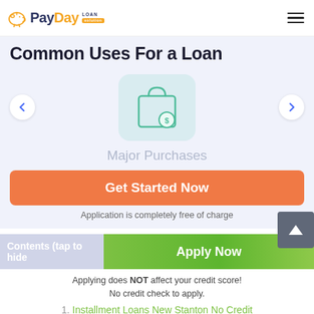[Figure (logo): PayDay Loan Solution logo with piggy bank icon]
Common Uses For a Loan
[Figure (illustration): Shopping bag with dollar sign icon on light teal circular background]
Major Purchases
Get Started Now
Application is completely free of charge
Contents (tap to hide)
Apply Now
Applying does NOT affect your credit score!
No credit check to apply.
1.  Installment Loans New Stanton No Credit